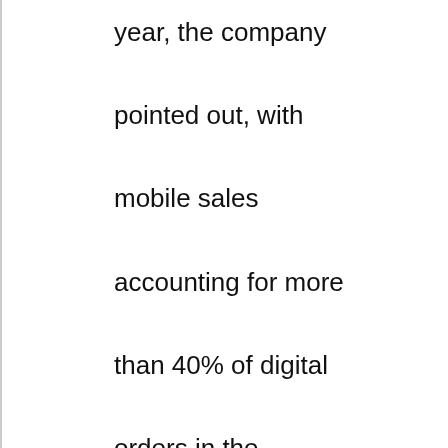year, the company pointed out, with mobile sales accounting for more than 40% of digital orders in the quarter. Learn more
Diversify or Focus? The Best Do Both
Source: (Strategy-Business February